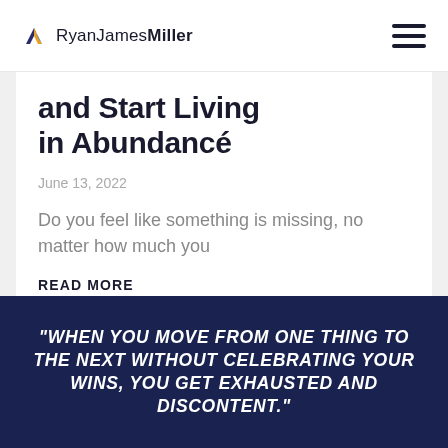RyanJamesMiller
and Start Living in Abundance
June 13, 2022
Do you feel like something is missing, no matter how much you
READ MORE
"WHEN YOU MOVE FROM ONE THING TO THE NEXT WITHOUT CELEBRATING YOUR WINS, YOU GET EXHAUSTED AND DISCONTENT."